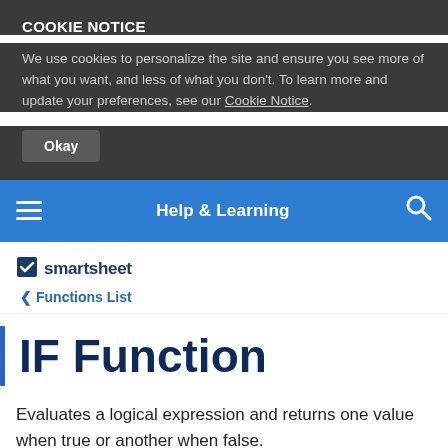COOKIE NOTICE
We use cookies to personalize the site and ensure you see more of what you want, and less of what you don't. To learn more and update your preferences, see our Cookie Notice.
Okay
Help & Learning
[Figure (logo): Smartsheet logo with checkbox icon and text 'smartsheet']
< Functions List
IF Function
Evaluates a logical expression and returns one value when true or another when false.